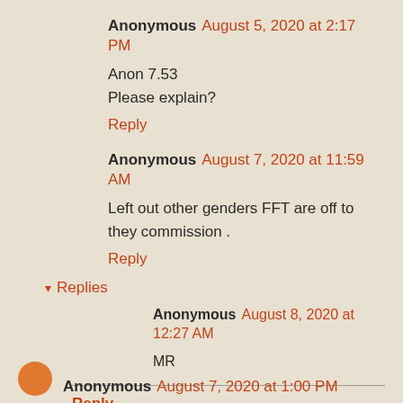Anonymous August 5, 2020 at 2:17 PM
Anon 7.53
Please explain?
Reply
Anonymous August 7, 2020 at 11:59 AM
Left out other genders FFT are off to they commission .
Reply
Replies
Anonymous August 8, 2020 at 12:27 AM
MR
Reply
Anonymous August 7, 2020 at 1:00 PM